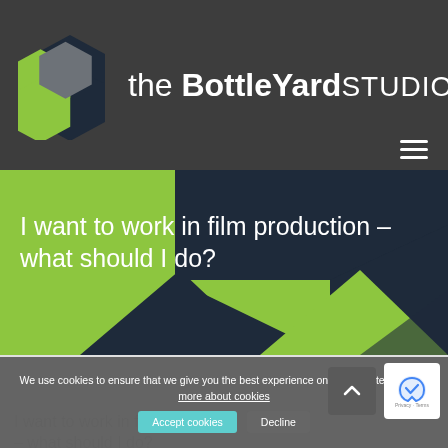[Figure (logo): The Bottle Yard Studios logo with hexagonal icon and white text]
I want to work in film production – what should I do?
We use cookies to ensure that we give you the best experience on our website. Find out more about cookies
I want to work in film production – what should I do?